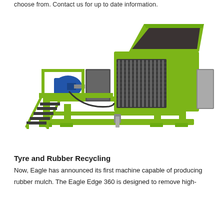choose from. Contact us for up to date information.
[Figure (photo): Large green industrial tyre shredding/recycling machine (Eagle Edge 360) with metal frame, staircase, electric motor, and shredder drum on a white background.]
Tyre and Rubber Recycling
Now, Eagle has announced its first machine capable of producing rubber mulch. The Eagle Edge 360 is designed to remove high-